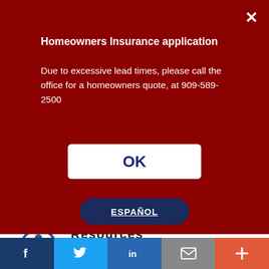Homeowners Insurance application
Due to excessive lead times, please call the office for a homeowners quote, at 909-589-2500
OK
ESPAÑOL
Resources
Products
Customer Service
Payment Options
Report a Claim
News
About Us